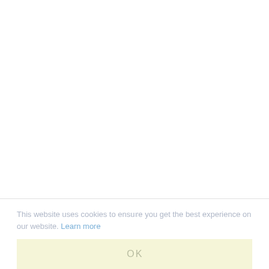This website uses cookies to ensure you get the best experience on our website. Learn more
OK